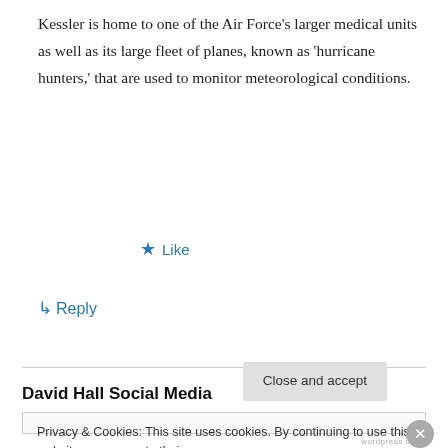Kessler is home to one of the Air Force's larger medical units as well as its large fleet of planes, known as 'hurricane hunters,' that are used to monitor meteorological conditions.
★ Like
↳ Reply
David Hall Social Media
Privacy & Cookies: This site uses cookies. By continuing to use this website, you agree to their use.
To find out more, including how to control cookies, see here: Cookie Policy
Close and accept